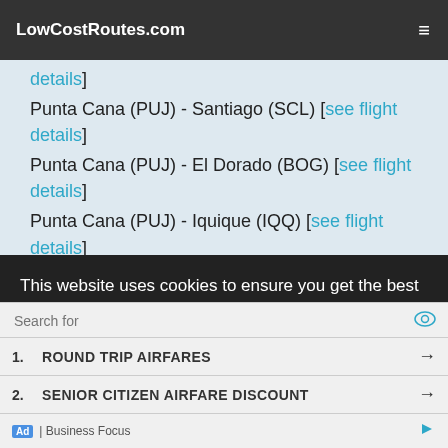LowCostRoutes.com
details]
Punta Cana (PUJ) - Santiago (SCL) [see flight details]
Punta Cana (PUJ) - El Dorado (BOG) [see flight details]
Punta Cana (PUJ) - Iquique (IQQ) [see flight details]
Punta Cana (PUJ) - Balmaceda, Coyhaique (BBA) [see flight details]
Punta Cana (PUJ) - Calama (CJC) [see flight details]
Punta Cana (PUJ) - Antofagasta (ANF) [see flight...
This website uses cookies to ensure you get the best experience on our website. Learn more
Search for
1. ROUND TRIP AIRFARES →
2. SENIOR CITIZEN AIRFARE DISCOUNT →
Ad | Business Focus